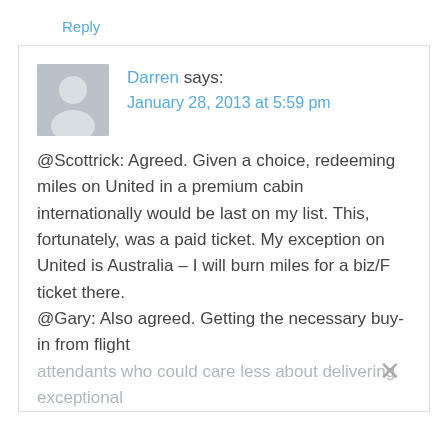Reply
Darren says:
January 28, 2013 at 5:59 pm
@Scottrick: Agreed. Given a choice, redeeming miles on United in a premium cabin internationally would be last on my list. This, fortunately, was a paid ticket. My exception on United is Australia – I will burn miles for a biz/F ticket there.
@Gary: Also agreed. Getting the necessary buy-in from flight attendants who could care less about delivering exceptional